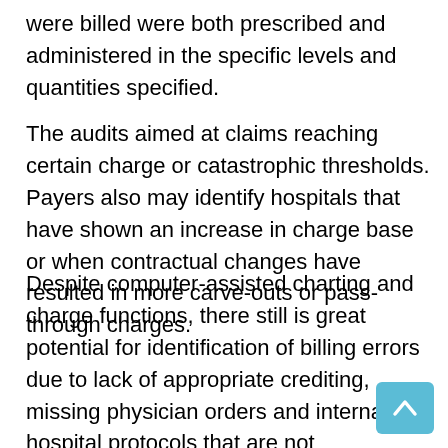were billed were both prescribed and administered in the specific levels and quantities specified.
The audits aimed at claims reaching certain charge or catastrophic thresholds. Payers also may identify hospitals that have shown an increase in charge base or when contractual changes have resulted in more carve-outs or pass-through charges.
Despite computer-assisted charting and charge functions, there still is great potential for identification of billing errors due to lack of appropriate crediting, missing physician orders and internal hospital protocols that are not documented or ordered by the physician. Our audit programs are specifically designed to closely scrutinize and assist in the control of these costly errors.